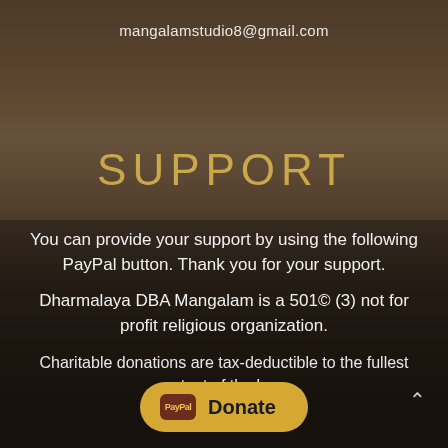mangalamstudio8@gmail.com
SUPPORT
You can provide your support by using the following PayPal button. Thank you for your support.
Dharmalaya DBA Mangalam is a 501© (3) not for profit religious organization.
Charitable donations are tax-deductible to the fullest extent of the law.
[Figure (other): Yellow PayPal Donate button with PayPal logo icon]